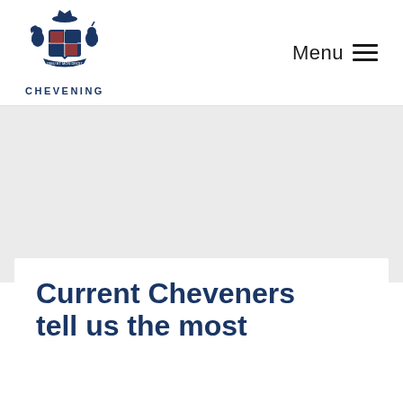[Figure (logo): Chevening UK Government coat of arms logo with lion and unicorn, below which is the text CHEVENING]
Menu
[Figure (photo): Large light grey hero image placeholder area]
Current Cheveners tell us the most